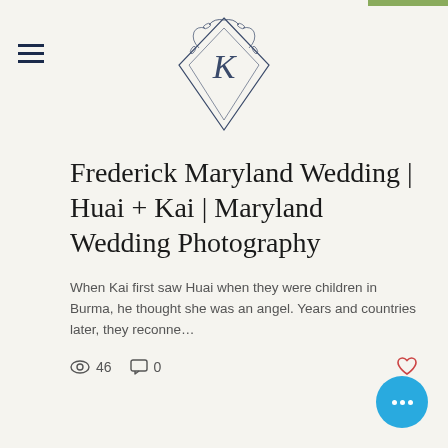[Figure (logo): Diamond-shaped floral monogram logo with letter K in center, botanical ornamental border]
Frederick Maryland Wedding | Huai + Kai | Maryland Wedding Photography
When Kai first saw Huai when they were children in Burma, he thought she was an angel. Years and countries later, they reconne…
46 views  0 comments  likes
[Figure (logo): Triangular/tent shaped floral monogram logo with letter H, botanical ornamental border (partially visible)]